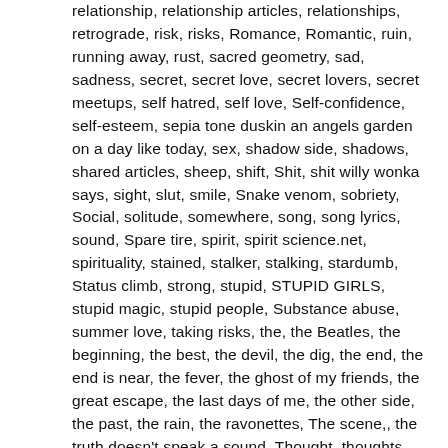relationship, relationship articles, relationships, retrograde, risk, risks, Romance, Romantic, ruin, running away, rust, sacred geometry, sad, sadness, secret, secret love, secret lovers, secret meetups, self hatred, self love, Self-confidence, self-esteem, sepia tone duskin an angels garden on a day like today, sex, shadow side, shadows, shared articles, sheep, shift, Shit, shit willy wonka says, sight, slut, smile, Snake venom, sobriety, Social, solitude, somewhere, song, song lyrics, sound, Spare tire, spirit, spirit science.net, spirituality, stained, stalker, stalking, stardumb, Status climb, strong, stupid, STUPID GIRLS, stupid magic, stupid people, Substance abuse, summer love, taking risks, the, the Beatles, the beginning, the best, the devil, the dig, the end, the end is near, the fever, the ghost of my friends, the great escape, the last days of me, the other side, the past, the rain, the ravonettes, The scene,, the truth doesn't speak a sound, Thought, thoughts, thrill, time, Touch (The Five Senses), toxic, trap, troll, trolls, Troubles, true love, TRUST, truth, Truth Definitions, Twitter, unfair, unhealthy, United States, universe, unrequited love, unwanted, us, user, Venomous snake, vulnerability,, wanting, waste of time, we, weak, what doesn't matter, what matters, whiskey, whore, whores, willy wonka, words, words of wisdom, world, writing, writings, you, you dont know what love is, you tube,